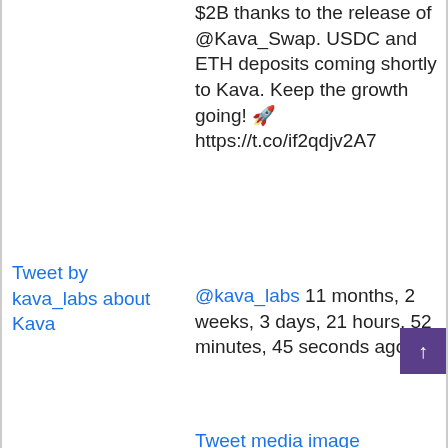$2B thanks to the release of @Kava_Swap. USDC and ETH deposits coming shortly to Kava. Keep the growth going! 🚀 https://t.co/if2qdjv2A7
[Figure (screenshot): Tweet by kava_labs about Kava (broken image placeholder shown as blue link text)]
@kava_labs 11 months, 2 weeks, 3 days, 21 hours, 52 minutes, 45 seconds ago
[Figure (photo): Tweet media image (broken image placeholder shown as blue link text)]
Learn how easy @Kava_Swap is to use: https://t.co/RM5SNnsKlj https://t.co/QytNLELLIV